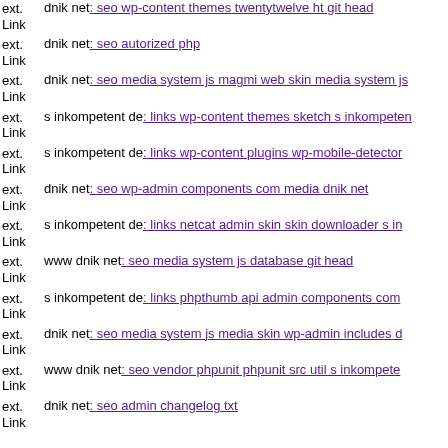ext. Link dnik net: seo wp-content themes twentytwelve ht git head
ext. Link dnik net: seo autorized php
ext. Link dnik net: seo media system js magmi web skin media system js
ext. Link s inkompetent de: links wp-content themes sketch s inkompetent
ext. Link s inkompetent de: links wp-content plugins wp-mobile-detector
ext. Link dnik net: seo wp-admin components com media dnik net
ext. Link s inkompetent de: links netcat admin skin skin downloader s in
ext. Link www dnik net: seo media system js database git head
ext. Link s inkompetent de: links phpthumb api admin components com
ext. Link dnik net: seo media system js media skin wp-admin includes d
ext. Link www dnik net: seo vendor phpunit phpunit src util s inkompetent
ext. Link dnik net: seo admin changelog txt